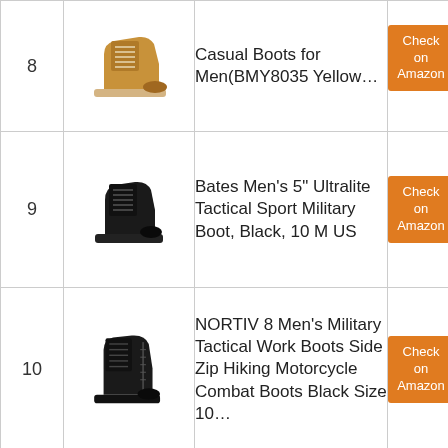| # | Image | Product Name | Link |
| --- | --- | --- | --- |
| 8 | [boot image] | Casual Boots for Men(BMY8035 Yellow… | Check on Amazon |
| 9 | [boot image] | Bates Men's 5″ Ultralite Tactical Sport Military Boot, Black, 10 M US | Check on Amazon |
| 10 | [boot image] | NORTIV 8 Men's Military Tactical Work Boots Side Zip Hiking Motorcycle Combat Boots Black Size 10… | Check on Amazon |